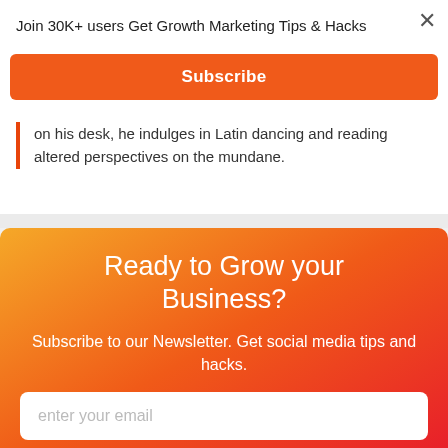Join 30K+ users Get Growth Marketing Tips & Hacks
Subscribe
on his desk, he indulges in Latin dancing and reading altered perspectives on the mundane.
Ready to Grow your Business?
Subscribe to our Newsletter. Get social media tips and hacks.
enter your email